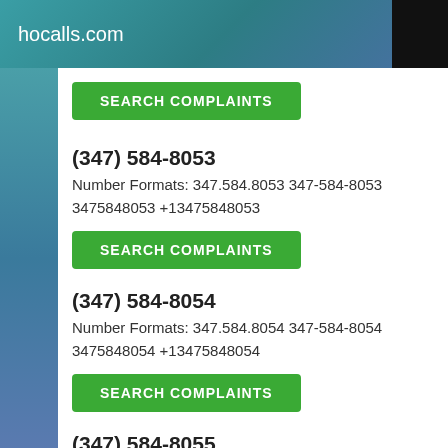hocalls.com
SEARCH COMPLAINTS
(347) 584-8053
Number Formats: 347.584.8053 347-584-8053 3475848053 +13475848053
SEARCH COMPLAINTS
(347) 584-8054
Number Formats: 347.584.8054 347-584-8054 3475848054 +13475848054
SEARCH COMPLAINTS
(347) 584-8055
Number Formats: 347.584.8055 347-584-8055 3475848055 +13475848055
SEARCH COMPLAINTS